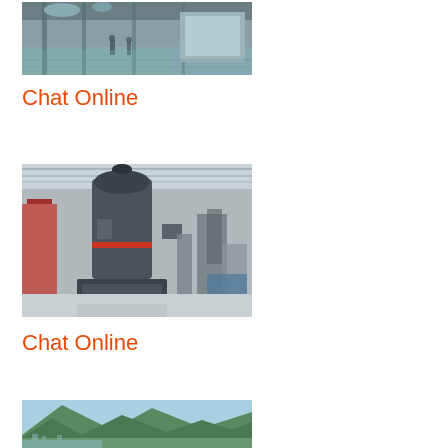[Figure (photo): Industrial interior of a factory or plant showing steel structures, pipes, ventilation ducts, and equipment on a reflective floor with workers visible in the background.]
Chat Online
[Figure (photo): Large industrial grinding mill or pulverizer machine inside a factory warehouse with a metal roof structure, surrounded by other industrial equipment.]
Chat Online
[Figure (photo): Mountain landscape with green hills and a town or industrial area visible in the valley below.]